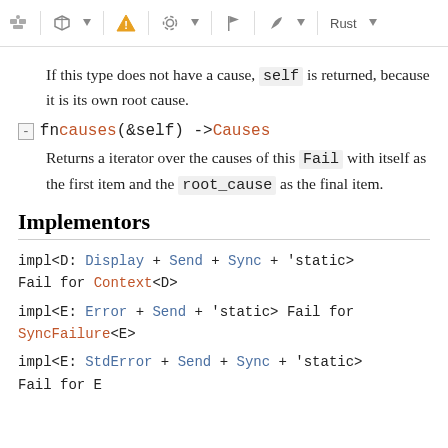Toolbar with icons and Rust label
If this type does not have a cause, self is returned, because it is its own root cause.
[-] fn causes(&self) -> Causes
Returns a iterator over the causes of this Fail with itself as the first item and the root_cause as the final item.
Implementors
impl<D: Display + Send + Sync + 'static> Fail for Context<D>
impl<E: Error + Send + 'static> Fail for SyncFailure<E>
impl<E: StdError + Send + Sync + 'static> Fail for E